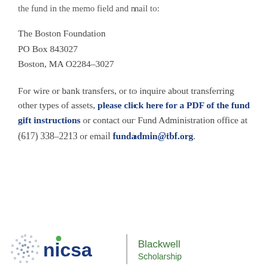the fund in the memo field and mail to:
The Boston Foundation
PO Box 843027
Boston, MA O2284-3027
For wire or bank transfers, or to inquire about transferring other types of assets, please click here for a PDF of the fund gift instructions or contact our Fund Administration office at (617) 338-2213 or email fundadmin@tbf.org.
[Figure (logo): NICSA logo with circular dot pattern icon and 'nicsa' text in dark blue with green dot, next to a vertical divider bar and 'Blackwell Scholarship' text in green]